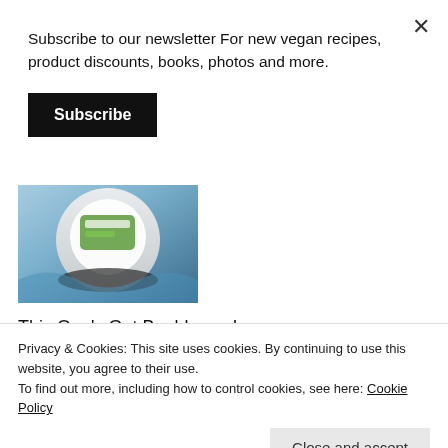Subscribe to our newsletter For new vegan recipes, product discounts, books, photos and more.
Subscribe
[Figure (photo): Partial image of a vegan food product packaging with green and white label, dark background]
This One's Got Baubles on!
November 24, 2017
Similar post
Privacy & Cookies: This site uses cookies. By continuing to use this website, you agree to their use.
To find out more, including how to control cookies, see here: Cookie Policy
Close and accept
# CAKE, CAKE RECIPES, CHRISTMAS, COOKING,